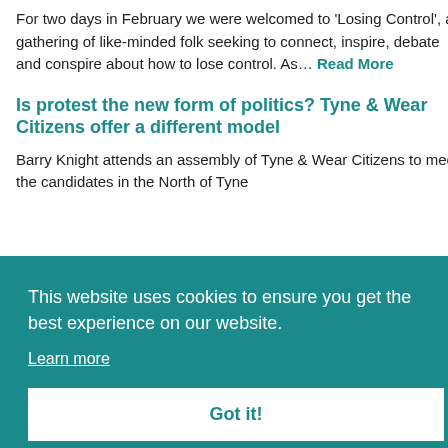For two days in February we were welcomed to 'Losing Control', a gathering of like-minded folk seeking to connect, inspire, debate and conspire about how to lose control. As... Read More
Is protest the new form of politics? Tyne & Wear Citizens offer a different model
Barry Knight attends an assembly of Tyne & Wear Citizens to meet the candidates in the North of Tyne
This website uses cookies to ensure you get the best experience on our website.
Learn more
Got it!
equimitably, etc. While... Read More